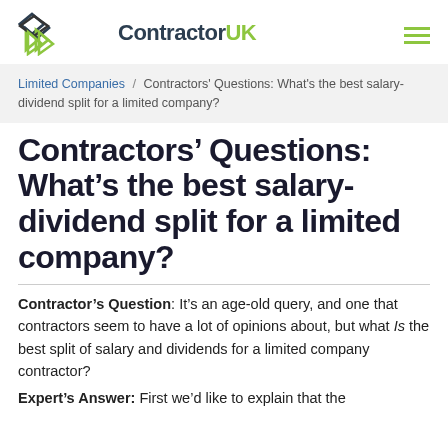[Figure (logo): ContractorUK logo with diamond/arrow icon and hamburger menu icon]
Limited Companies / Contractors' Questions: What's the best salary-dividend split for a limited company?
Contractors' Questions: What's the best salary-dividend split for a limited company?
Contractor's Question: It's an age-old query, and one that contractors seem to have a lot of opinions about, but what Is the best split of salary and dividends for a limited company contractor?
Expert's Answer: First we'd like to explain that the